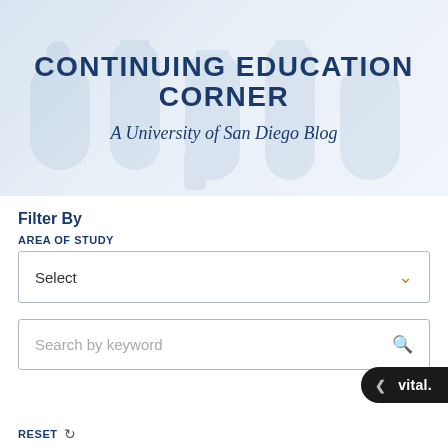CONTINUING EDUCATION CORNER
A University of San Diego Blog
Filter By
AREA OF STUDY
Select
Search by keyword
< vital.
RESET